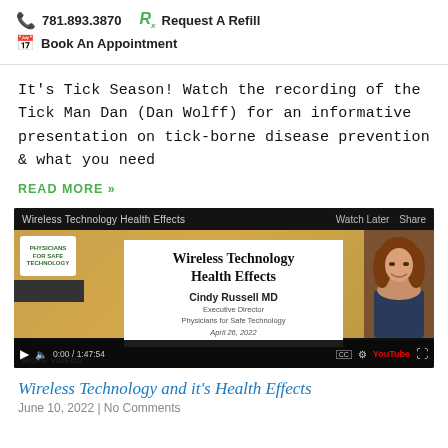781.893.3870  Request A Refill  Book An Appointment
It's Tick Season! Watch the recording of the Tick Man Dan (Dan Wolff) for an informative presentation on tick-borne disease prevention & what you need
READ MORE »
[Figure (screenshot): YouTube video screenshot showing 'Wireless Technology Health Effects' presentation by Cindy Russell MD, Executive Director, Physicians for Safe Technology. Dated April 26, 2022. Shows presentation title card with a photo of the presenter.]
Wireless Technology and it's Health Effects
June 10, 2022 | No Comments